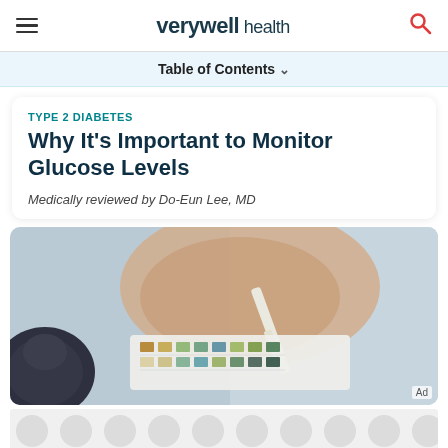verywell health
Table of Contents
TYPE 2 DIABETES
Why It's Important to Monitor Glucose Levels
Medically reviewed by Do-Eun Lee, MD
[Figure (photo): Close-up of a hand holding a urine test strip next to a color chart/urinalysis reference card, with a glucometer visible in the lower left. Background is blurred light blue/grey.]
[Figure (other): Advertisement banner with repeating circular dot pattern in grey/light colours.]